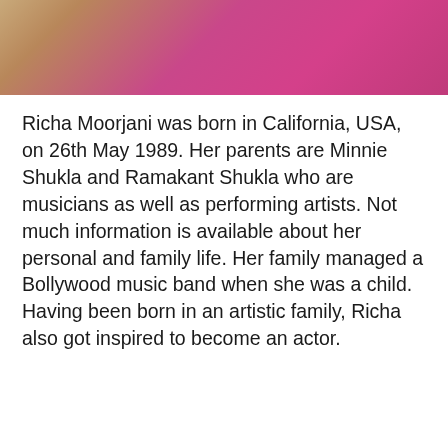[Figure (photo): Top portion of a photo of Richa Moorjani wearing a pink/magenta outfit with dark hair, cropped to show upper body against a stone background]
Richa Moorjani was born in California, USA, on 26th May 1989. Her parents are Minnie Shukla and Ramakant Shukla who are musicians as well as performing artists. Not much information is available about her personal and family life. Her family managed a Bollywood music band when she was a child. Having been born in an artistic family, Richa also got inspired to become an actor.